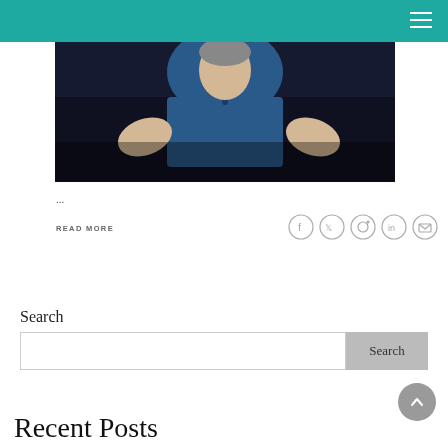[Figure (photo): Person in blue top with hands raised, photographed against dark background]
...
READ MORE
[Figure (other): Social sharing icons: Facebook, Twitter, Pinterest, LinkedIn, Email]
Search
Search
Recent Posts